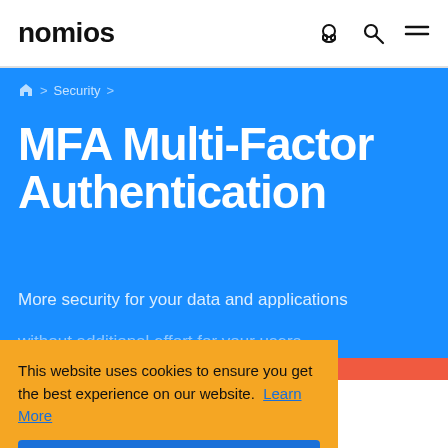nomios
Security
MFA Multi-Factor Authentication
More security for your data and applications without additional effort for your users.
This website uses cookies to ensure you get the best experience on our website. Learn More
I agree
Make a selection